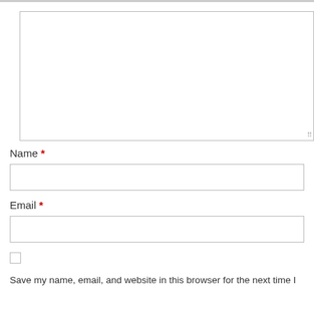[Figure (screenshot): Large textarea input field with resize handle at bottom right]
Name *
[Figure (screenshot): Name text input field, empty]
Email *
[Figure (screenshot): Email text input field, empty]
[Figure (screenshot): Checkbox (unchecked)]
Save my name, email, and website in this browser for the next time I